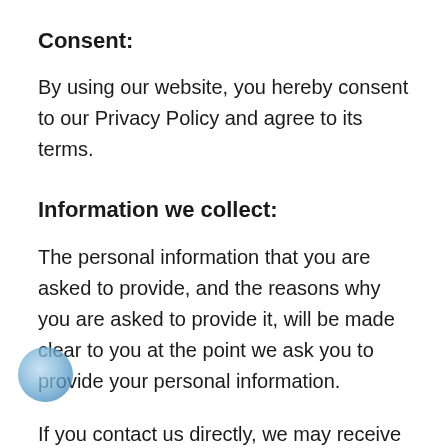Consent:
By using our website, you hereby consent to our Privacy Policy and agree to its terms.
Information we collect:
The personal information that you are asked to provide, and the reasons why you are asked to provide it, will be made clear to you at the point we ask you to provide your personal information.
If you contact us directly, we may receive additional information about you such as your name, email address, phone